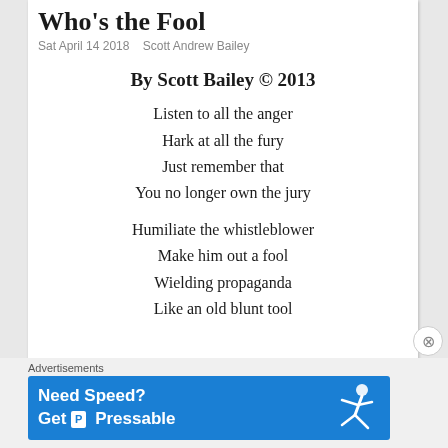Who's the Fool
Sat April 14 2018   Scott Andrew Bailey
By Scott Bailey © 2013
Listen to all the anger
Hark at all the fury
Just remember that
You no longer own the jury

Humiliate the whistleblower
Make him out a fool
Wielding propaganda
Like an old blunt tool
Advertisements
[Figure (infographic): Blue advertisement banner reading 'Need Speed? Get Pressable' with Pressable logo and a person flying/running graphic]